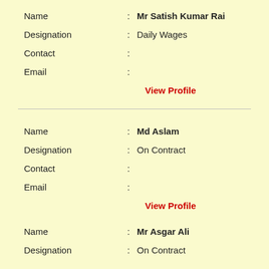Name : Mr Satish Kumar Rai
Designation : Daily Wages
Contact :
Email :
View Profile
Name : Md Aslam
Designation : On Contract
Contact :
Email :
View Profile
Name : Mr Asgar Ali
Designation : On Contract